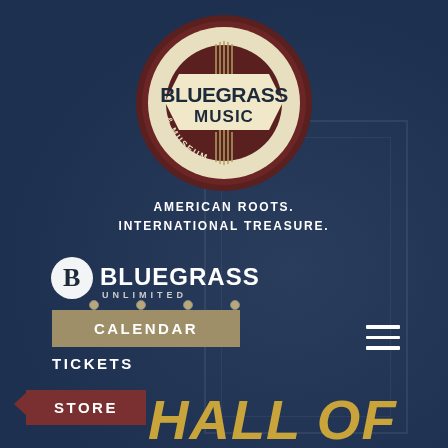[Figure (logo): Bluegrass Music Hall of Fame & Museum circular badge logo with dark brown/maroon ring, cream banner with 'BLUEGRASS MUSIC' text and guitar strings graphic, bottom text '& MUSEUM']
AMERICAN ROOTS.
INTERNATIONAL TREASURE.
[Figure (logo): Bluegrass Unlimited magazine logo - white text with stylized B and music note, 'BLUEGRASS' in large letters, 'UNLIMITED' in smaller letters below]
CALENDAR
TICKETS
STORE
HALL OF
FAME